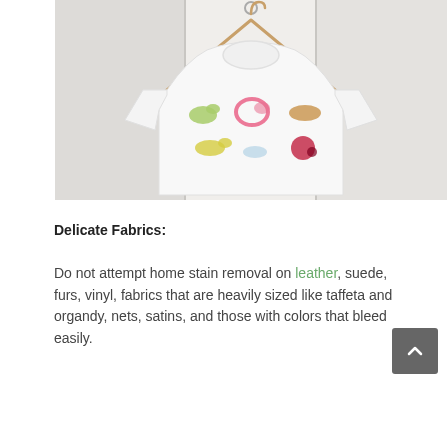[Figure (photo): A white t-shirt hanging on a wooden hanger against a white door/wall background. The shirt has multiple colorful stains on it — green, pink ring, tan/brown, yellow, light blue, and red stains.]
Delicate Fabrics:
Do not attempt home stain removal on leather, suede, furs, vinyl, fabrics that are heavily sized like taffeta and organdy, nets, satins, and those with colors that bleed easily.